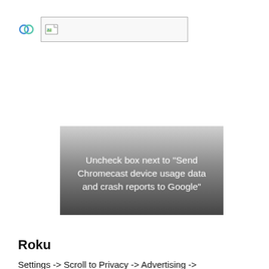[Figure (screenshot): A broken image placeholder icon (blue/green circle shapes) on the left, and a broken image box with a small image icon on the right, representing a missing/unloaded image at the top of the page.]
[Figure (screenshot): A screenshot showing a dark gradient overlay on what appears to be a settings screen, with white text reading: Uncheck box next to “Send Chromecast device usage data and crash reports to Google”]
Roku
Settings -> Scroll to Privacy -> Advertising -> Limit Ad Tracking